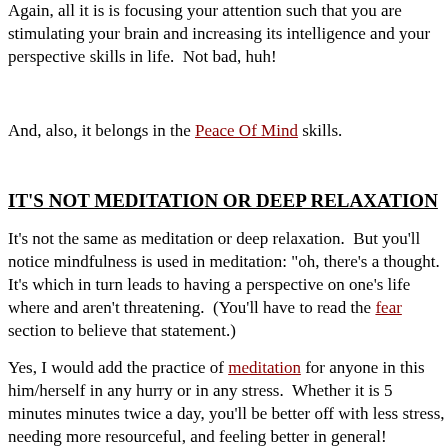Again, all it is is focusing your attention such that you are stimulating your brain and increasing its intelligence and your perspective skills in life.  Not bad, huh!
And, also, it belongs in the Peace Of Mind skills.
IT'S NOT MEDITATION OR DEEP RELAXATION
It's not the same as meditation or deep relaxation.  But you'll notice mindfulness is used in meditation: "oh, there's a thought.  It's just a thought", which in turn leads to having a perspective on one's life where thoughts are and aren't threatening.  (You'll have to read the fear section to fully believe that statement.)
Yes, I would add the practice of meditation for anyone in this who finds him/herself in any hurry or in any stress.  Whether it is 5 minutes twice a day, minutes twice a day, you'll be better off with less stress, needing less, being more resourceful, and feeling better in general!